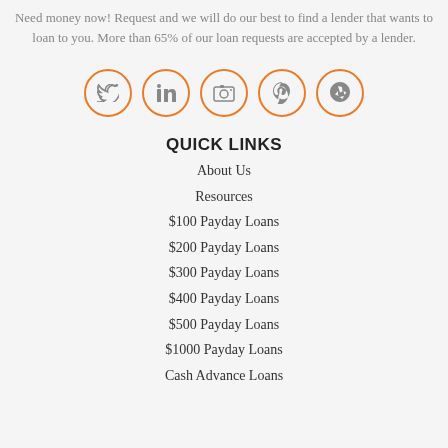Need money now! Request and we will do our best to find a lender that wants to loan to you. More than 65% of our loan requests are accepted by a lender.
[Figure (illustration): Five social media icons in orange circle outlines: Twitter, LinkedIn, a camera/photo icon, Pinterest, and Yelp]
QUICK LINKS
About Us
Resources
$100 Payday Loans
$200 Payday Loans
$300 Payday Loans
$400 Payday Loans
$500 Payday Loans
$1000 Payday Loans
Cash Advance Loans